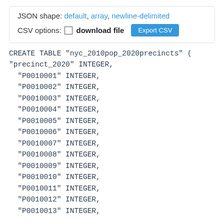JSON shape: default, array, newline-delimited
CSV options: □ download file  Export CSV
CREATE TABLE "nyc_2010pop_2020precincts" (
"precinct_2020" INTEGER,
  "P0010001" INTEGER,
  "P0010002" INTEGER,
  "P0010003" INTEGER,
  "P0010004" INTEGER,
  "P0010005" INTEGER,
  "P0010006" INTEGER,
  "P0010007" INTEGER,
  "P0010008" INTEGER,
  "P0010009" INTEGER,
  "P0010010" INTEGER,
  "P0010011" INTEGER,
  "P0010012" INTEGER,
  "P0010013" INTEGER,